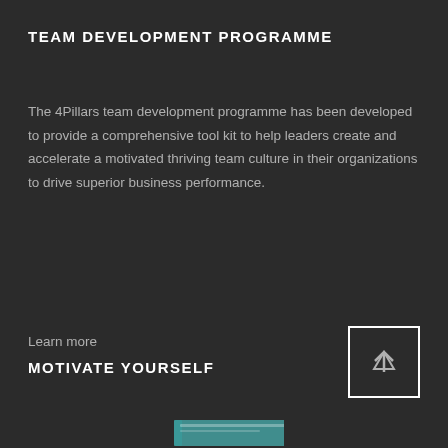TEAM DEVELOPMENT PROGRAMME
The 4Pillars team development programme has been developed to provide a comprehensive tool kit to help leaders create and accelerate a motivated thriving team culture in their organizations to drive superior business performance.
Learn more
MOTIVATE YOURSELF
[Figure (other): Arrow up button icon within a white bordered square, positioned bottom right]
[Figure (illustration): Partial view of a book or product image at the very bottom of the page]